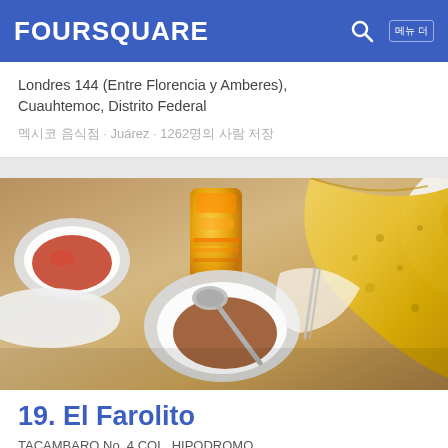FOURSQUARE
Londres 144 (Entre Florencia y Amberes), Cuauhtemoc, Distrito Federal
멕시코 음식점 · Juárez · 1262명의 사람 저장
[Figure (photo): Photo of food on a restaurant table including bowls of sauce, a spoon, an orange juice drink, and a large yellow tortilla/crepe]
19. El Farolito
TACAMBARO No. 4 COL. HIPODROMO CONDESA, 멕시코 시티, Distrito Federal
타코 음식점 · Hipódromo Condesa · 57명의 사람 저장
Jeremy Bass: Deigo's